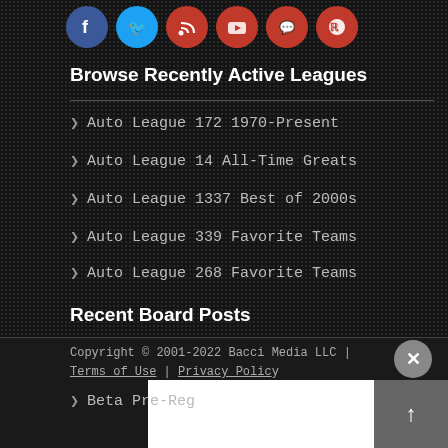[Figure (other): Row of social media icons: Facebook (blue), Twitter (blue), RSS (red), YouTube (red), Discord (red), Reddit (red)]
Browse Recently Active Leagues
Auto League 172 1970-Present
Auto League 14 All-Time Greats
Auto League 1337 Best of 2000s
Auto League 339 Favorite Teams
Auto League 268 Favorite Teams
Recent Board Posts
Baseball
Beta Pre-Reg
Question for football fans
ON A ROLL
Fox CFB ad
Copyright © 2001-2022 Bacci Media LLC | Terms of Use | Privacy Policy